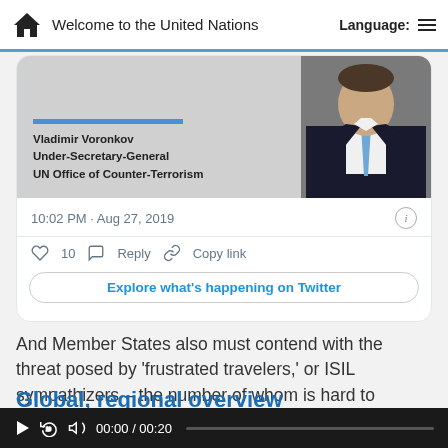Welcome to the United Nations | Language:
[Figure (screenshot): Embedded Twitter card showing Vladimir Voronkov, Under-Secretary-General, UN Office of Counter-Terrorism. Tweet timestamp: 10:02 PM · Aug 27, 2019. Actions: 10 likes, Reply, Copy link. CTA: Explore what's happening on Twitter]
And Member States also must contend with the threat posed by ‘frustrated travelers,’ or ISIL sympathizers – the number of whom is hard to estimate.
Global, regional overview
While acknowledging ISIL’s defeat in Syria as “a